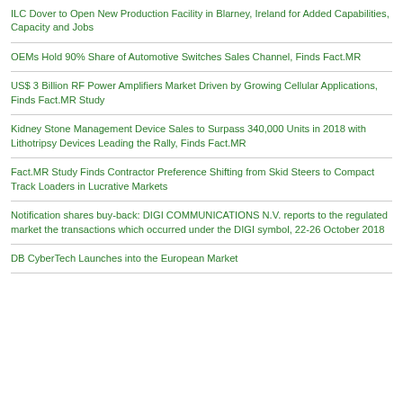ILC Dover to Open New Production Facility in Blarney, Ireland for Added Capabilities, Capacity and Jobs
OEMs Hold 90% Share of Automotive Switches Sales Channel, Finds Fact.MR
US$ 3 Billion RF Power Amplifiers Market Driven by Growing Cellular Applications, Finds Fact.MR Study
Kidney Stone Management Device Sales to Surpass 340,000 Units in 2018 with Lithotripsy Devices Leading the Rally, Finds Fact.MR
Fact.MR Study Finds Contractor Preference Shifting from Skid Steers to Compact Track Loaders in Lucrative Markets
Notification shares buy-back: DIGI COMMUNICATIONS N.V. reports to the regulated market the transactions which occurred under the DIGI symbol, 22-26 October 2018
DB CyberTech Launches into the European Market